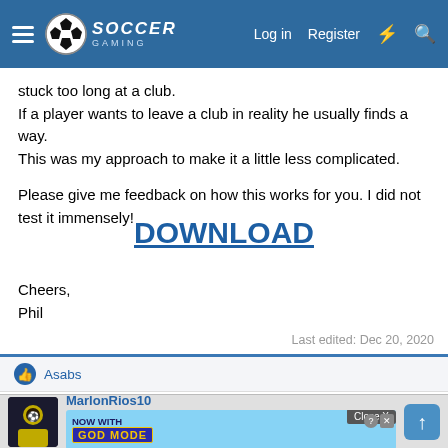Soccer Gaming - Log in | Register
stuck too long at a club.
If a player wants to leave a club in reality he usually finds a way.
This was my approach to make it a little less complicated.

Please give me feedback on how this works for you. I did not test it immensely!
DOWNLOAD
Cheers,
Phil
Last edited: Dec 20, 2020
Asabs
MarlonRios10